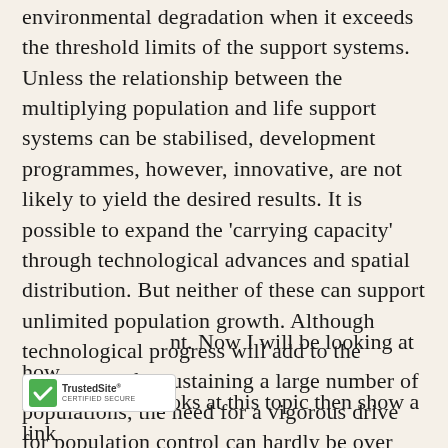environmental degradation when it exceeds the threshold limits of the support systems. Unless the relationship between the multiplying population and life support systems can be stabilised, development programmes, however, innovative, are not likely to yield the desired results. It is possible to expand the 'carrying capacity' through technological advances and spatial distribution. But neither of these can support unlimited population growth. Although technological progress will add to the capabilities for sustaining a large number of populations, the need for a vigorous drive for population control can hardly be over emphasised in view of the linkage between poverty, population growth and the
[Figure (logo): TrustedSite Certified Secure badge - green checkmark with TrustedSite text and CERTIFIED SECURE subtitle]
ent. Now I will be looking at how oks at this topic then show a link